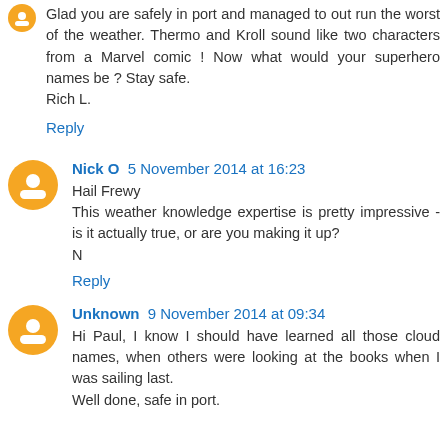Glad you are safely in port and managed to out run the worst of the weather. Thermo and Kroll sound like two characters from a Marvel comic ! Now what would your superhero names be ? Stay safe.
Rich L.
Reply
Nick O  5 November 2014 at 16:23
Hail Frewy
This weather knowledge expertise is pretty impressive - is it actually true, or are you making it up?
N
Reply
Unknown  9 November 2014 at 09:34
Hi Paul, I know I should have learned all those cloud names, when others were looking at the books when I was sailing last.
Well done, safe in port.